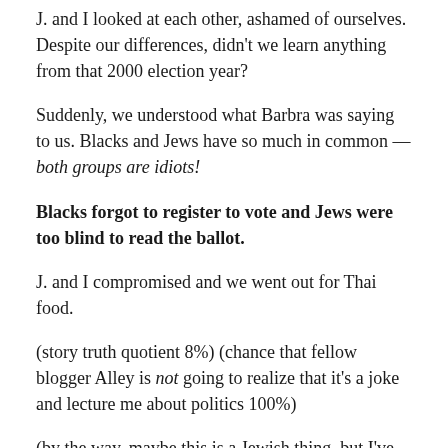J. and I looked at each other, ashamed of ourselves. Despite our differences, didn't we learn anything from that 2000 election year?
Suddenly, we understood what Barbra was saying to us. Blacks and Jews have so much in common — both groups are idiots!
Blacks forgot to register to vote and Jews were too blind to read the ballot.
J. and I compromised and we went out for Thai food.
(story truth quotient 8%) (chance that fellow blogger Alley is not going to realize that it's a joke and lecture me about politics 100%)
(by the way, maybe this is a Jewish thing, but I've always found Barbara Streisand incredibly sexy and beautiful — but I have a feeling James Brolin has one high